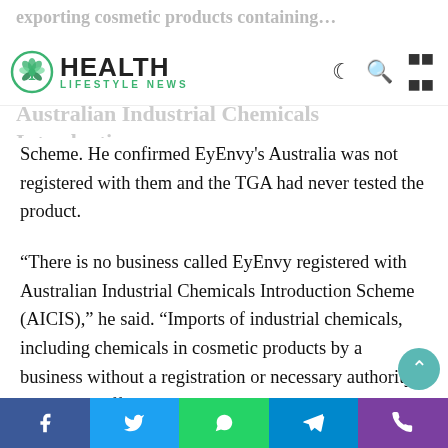exporting cosmetic products containing...
HEALTH LIFESTYLE NEWS — Australia must regi... Australian Industrial Chemicals Introduction
Scheme. He confirmed EyEnvy's Australia was not registered with them and the TGA had never tested the product.
“There is no business called EyEnvy registered with Australian Industrial Chemicals Introduction Scheme (AICIS),” he said. “Imports of industrial chemicals, including chemicals in cosmetic products by a business without a registration or necessary authority, may be an offence under the Industrial Chemicals Act (2019).”
The TGA also previously said two of the product’s
Facebook Twitter WhatsApp Telegram Phone